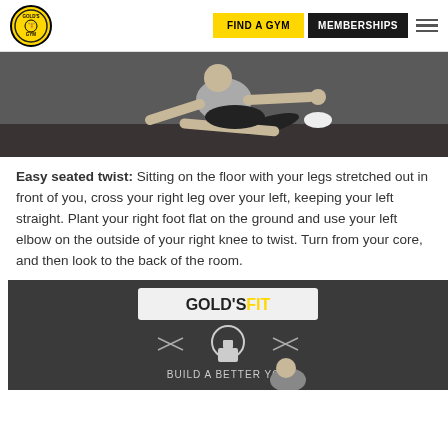FIND A GYM | MEMBERSHIPS
[Figure (photo): Person sitting on gym floor performing a seated twist stretch, legs extended, one knee crossed over, leaning with arm behind]
Easy seated twist: Sitting on the floor with your legs stretched out in front of you, cross your right leg over your left, keeping your left straight. Plant your right foot flat on the ground and use your left elbow on the outside of your right knee to twist. Turn from your core, and then look to the back of the room.
[Figure (photo): Gold's Fit logo and person performing exercise in gym, with text BUILD A BETTER YOU]